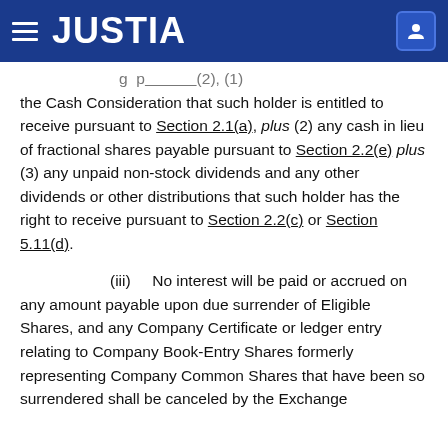JUSTIA
the Cash Consideration that such holder is entitled to receive pursuant to Section 2.1(a), plus (2) any cash in lieu of fractional shares payable pursuant to Section 2.2(e) plus (3) any unpaid non-stock dividends and any other dividends or other distributions that such holder has the right to receive pursuant to Section 2.2(c) or Section 5.11(d).
(iii) No interest will be paid or accrued on any amount payable upon due surrender of Eligible Shares, and any Company Certificate or ledger entry relating to Company Book-Entry Shares formerly representing Company Common Shares that have been so surrendered shall be canceled by the Exchange